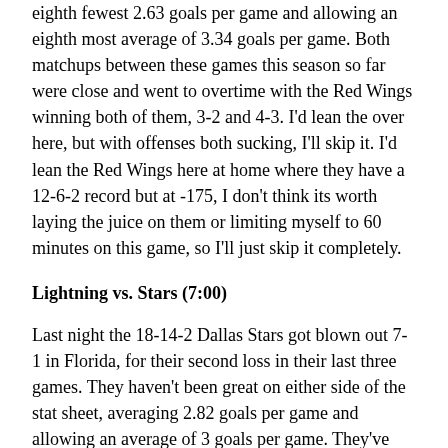eighth fewest 2.63 goals per game and allowing an eighth most average of 3.34 goals per game. Both matchups between these games this season so far were close and went to overtime with the Red Wings winning both of them, 3-2 and 4-3. I'd lean the over here, but with offenses both sucking, I'll skip it. I'd lean the Red Wings here at home where they have a 12-6-2 record but at -175, I don't think its worth laying the juice on them or limiting myself to 60 minutes on this game, so I'll just skip it completely.
Lightning vs. Stars (7:00)
Last night the 18-14-2 Dallas Stars got blown out 7-1 in Florida, for their second loss in their last three games. They haven't been great on either side of the stat sheet, averaging 2.82 goals per game and allowing an average of 3 goals per game. They've been significantly worse on the road than they are at home, with only a 4-11-1